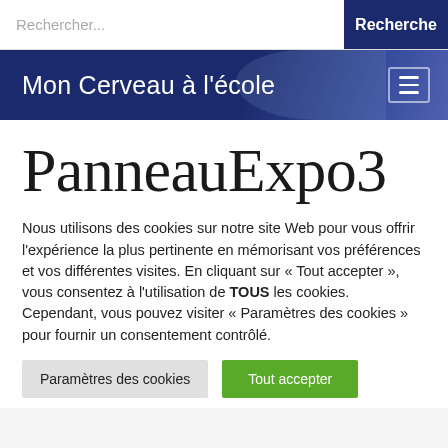Rechercher... | Recherche
Mon Cerveau à l'école
PanneauExpo3
Nous utilisons des cookies sur notre site Web pour vous offrir l'expérience la plus pertinente en mémorisant vos préférences et vos différentes visites. En cliquant sur « Tout accepter », vous consentez à l'utilisation de TOUS les cookies. Cependant, vous pouvez visiter « Paramètres des cookies » pour fournir un consentement contrôlé.
Paramètres des cookies | Tout accepter